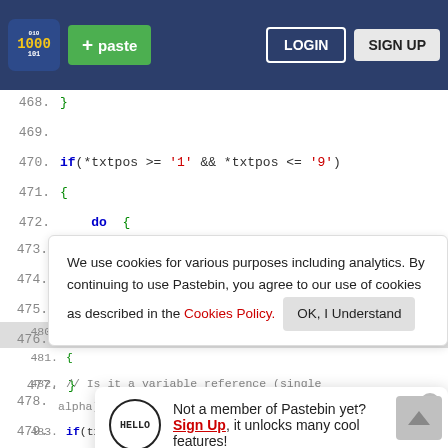Pastebin header with logo, paste button, LOGIN, SIGN UP
468.     }
469.
470.     if(*txtpos >= '1' && *txtpos <= '9')
471.     {
472.         do  {
Cookie banner: We use cookies for various purposes including analytics. By continuing to use Pastebin, you agree to our use of cookies as described in the Cookies Policy. OK, I Understand
477.     }
Not a member of Pastebin yet? Sign Up, it unlocks many cool features!
480.     if(txtpos[0] >= 'A' && txtpos[0] <= 'Z')
481.     {
482.         // Is it a variable reference (single alpha)
483.         if(txtpos[1] < 'A' || txtpos[1] > 'Z')